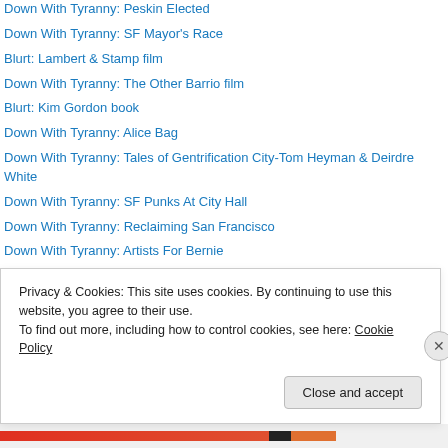Down With Tyranny: Peskin Elected
Down With Tyranny: SF Mayor's Race
Blurt: Lambert & Stamp film
Down With Tyranny: The Other Barrio film
Blurt: Kim Gordon book
Down With Tyranny: Alice Bag
Down With Tyranny: Tales of Gentrification City-Tom Heyman & Deirdre White
Down With Tyranny: SF Punks At City Hall
Down With Tyranny: Reclaiming San Francisco
Down With Tyranny: Artists For Bernie
Down With Tyranny: Homeless in San Francisco
Blurt: Musicians and Healthcare
Privacy & Cookies: This site uses cookies. By continuing to use this website, you agree to their use.
To find out more, including how to control cookies, see here: Cookie Policy
Close and accept